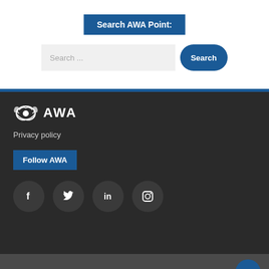Search AWA Point:
Search ...
[Figure (screenshot): AWA logo with stylized icon and text 'AWA' in white on dark background]
Privacy policy
Follow AWA
[Figure (infographic): Social media icons: Facebook, Twitter, LinkedIn, Instagram in dark circles]
Go to mobile version